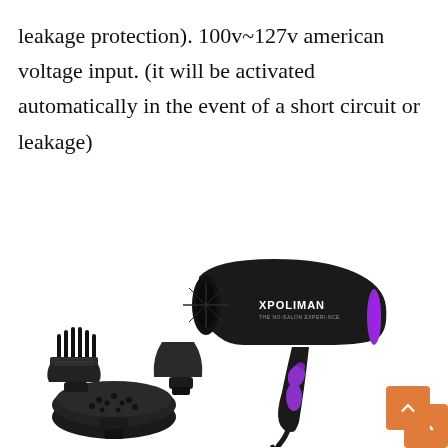leakage protection). 100v~127v american voltage input. (it will be activated automatically in the event of a short circuit or leakage)
[Figure (photo): Black XPOLIMAN hair dryer with purple accent ring near the nozzle, shown alongside three black attachments: a pick comb diffuser, a concentrator nozzle, and a round diffuser bowl with holes.]